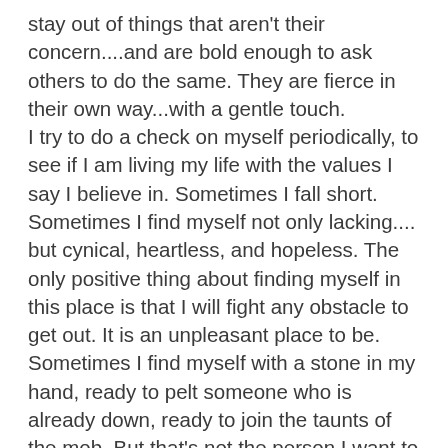stay out of things that aren't their concern....and are bold enough to ask others to do the same. They are fierce in their own way...with a gentle touch.
I try to do a check on myself periodically, to see if I am living my life with the values I say I believe in. Sometimes I fall short. Sometimes I find myself not only lacking.... but cynical, heartless, and hopeless. The only positive thing about finding myself in this place is that I will fight any obstacle to get out. It is an unpleasant place to be. Sometimes I find myself with a stone in my hand, ready to pelt someone who is already down, ready to join the taunts of the mob. But that's not the person I want to be. I'd rather be the one applying salve to wounds, to lead someone back home, to hold out my hand to help them get back up. Because I could so easily be where they are